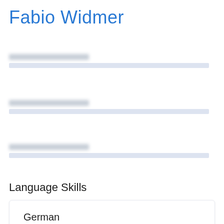Fabio Widmer
[Figure (other): Blurred/redacted certification or form field block 1]
[Figure (other): Blurred/redacted certification or form field block 2]
[Figure (other): Blurred/redacted certification or form field block 3]
Language Skills
German
Mother Tongue